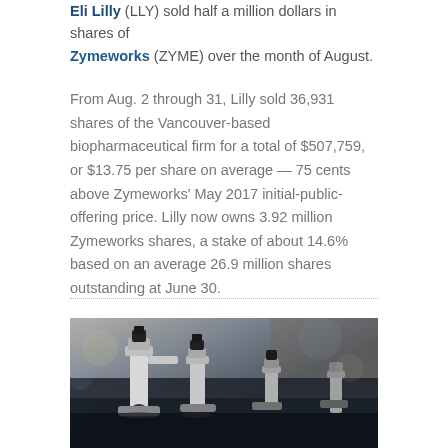Eli Lilly (LLY) sold half a million dollars in shares of Zymeworks (ZYME) over the month of August.
From Aug. 2 through 31, Lilly sold 36,931 shares of the Vancouver-based biopharmaceutical firm for a total of $507,759, or $13.75 per share on average — 75 cents above Zymeworks' May 2017 initial-public-offering price. Lilly now owns 3.92 million Zymeworks shares, a stake of about 14.6% based on an average 26.9 million shares outstanding at June 30.
[Figure (photo): Photo of laboratory microscopes on a bench, taken from a low angle showing multiple microscopes in a row with bokeh background]